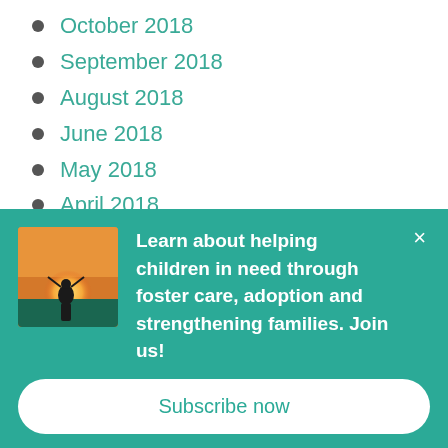October 2018
September 2018
August 2018
June 2018
May 2018
April 2018
March 2018
January 2018
December 2017
November 2017
October 2017
[Figure (photo): Person lifting child against sunset sky]
Learn about helping children in need through foster care, adoption and strengthening families. Join us!
Subscribe now